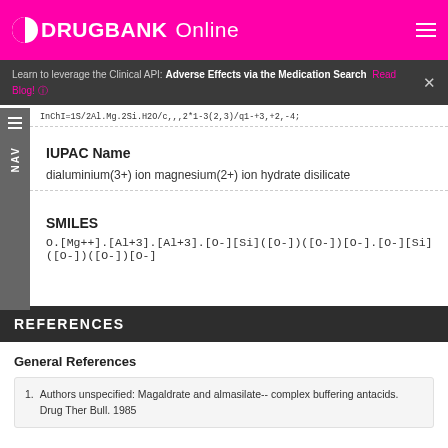DRUGBANK Online
Learn to leverage the Clinical API: Adverse Effects via the Medication Search Read Blog!
InChI=1S/2Al.Mg.2Si.H2O/c,,,2*1-3(2,3)/q,,,2*1-3,+2,-4;
IUPAC Name
dialuminium(3+) ion magnesium(2+) ion hydrate disilicate
SMILES
O.[Mg++].[Al+3].[Al+3].[O-][Si]([O-])([O-])[O-].[O-][Si]([O-])([O-])[O-]
REFERENCES
General References
Authors unspecified: Magaldrate and almasilate--complex buffering antacids. Drug Ther Bull. 1985